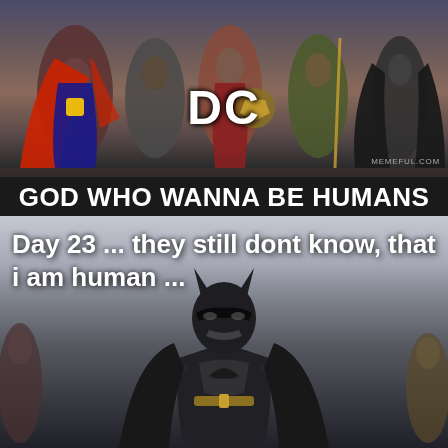[Figure (photo): Top panel: Justice League DC superheroes group photo with Superman, Wonder Woman, and others in dramatic lighting. Text overlay 'DC' in white. Bottom label 'GOD WHO WANNA BE HUMANS' in bold white on dark background. MEMEFUL.COM watermark.]
DC
GOD WHO WANNA BE HUMANS
[Figure (photo): Bottom panel: Batman in full costume standing in dramatic pose against cloudy sky background.]
Day 23 ... they still dont know, that i am human ...